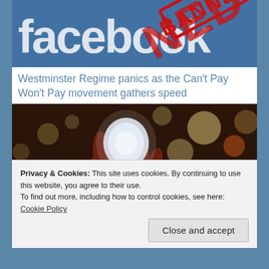[Figure (screenshot): Facebook logo with 'BANNED' red stamp overlay on blue background]
Westminster Regime panics as the Can't Pay Won't Pay movement gathers speed
[Figure (photo): Hand holding a light bulb against a blurred bokeh background of lights]
Privacy & Cookies: This site uses cookies. By continuing to use this website, you agree to their use.
To find out more, including how to control cookies, see here: Cookie Policy
Close and accept